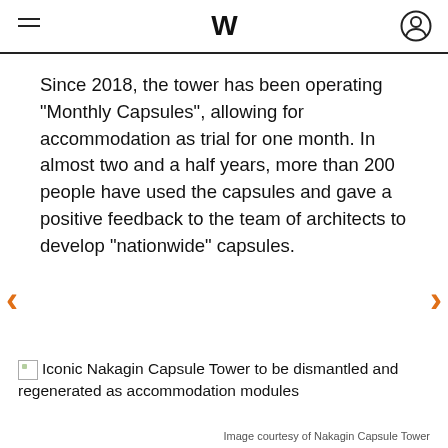W
Since 2018, the tower has been operating "Monthly Capsules", allowing for accommodation as trial for one month. In almost two and a half years, more than 200 people have used the capsules and gave a positive feedback to the team of architects to develop "nationwide" capsules.
[Figure (other): Broken image placeholder with alt text: Iconic Nakagin Capsule Tower to be dismantled and regenerated as accommodation modules]
Image courtesy of Nakagin Capsule Tower